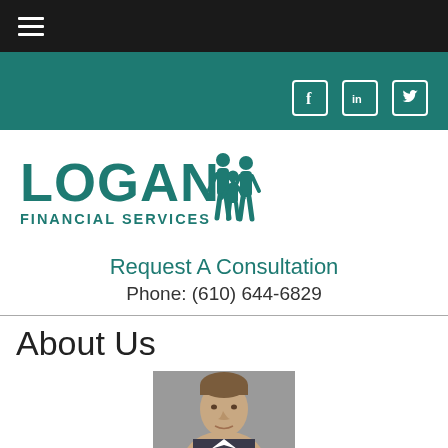Navigation bar with hamburger menu
[Figure (logo): Teal header band with Facebook, LinkedIn, and Twitter social media icons]
[Figure (logo): Logan Financial Services logo with teal text and family silhouette icon]
Request A Consultation
Phone: (610) 644-6829
About Us
[Figure (photo): Headshot photo of a middle-aged man in professional attire against a grey background]